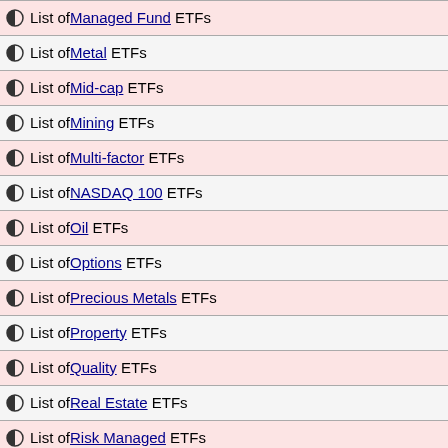List of Managed Fund ETFs
List of Metal ETFs
List of Mid-cap ETFs
List of Mining ETFs
List of Multi-factor ETFs
List of NASDAQ 100 ETFs
List of Oil ETFs
List of Options ETFs
List of Precious Metals ETFs
List of Property ETFs
List of Quality ETFs
List of Real Estate ETFs
List of Risk Managed ETFs
List of Robotics ETFs
List of S&P ETFs
List of S&P 500 ETFs
List of STOXX 50 ETFs
List of Sector ETFs